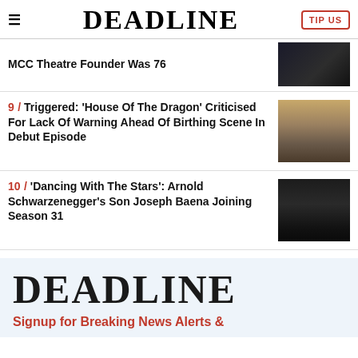DEADLINE | TIP US
MCC Theatre Founder Was 76
9 / Triggered: 'House Of The Dragon' Criticised For Lack Of Warning Ahead Of Birthing Scene In Debut Episode
10 / 'Dancing With The Stars': Arnold Schwarzenegger's Son Joseph Baena Joining Season 31
DEADLINE
Signup for Breaking News Alerts &